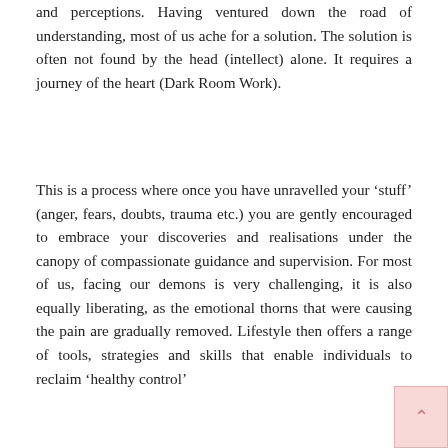and perceptions. Having ventured down the road of understanding, most of us ache for a solution. The solution is often not found by the head (intellect) alone. It requires a journey of the heart (Dark Room Work).
This is a process where once you have unravelled your ‘stuff’ (anger, fears, doubts, trauma etc.) you are gently encouraged to embrace your discoveries and realisations under the canopy of compassionate guidance and supervision. For most of us, facing our demons is very challenging, it is also equally liberating, as the emotional thorns that were causing the pain are gradually removed. Lifestyle then offers a range of tools, strategies and skills that enable individuals to reclaim ‘healthy control’